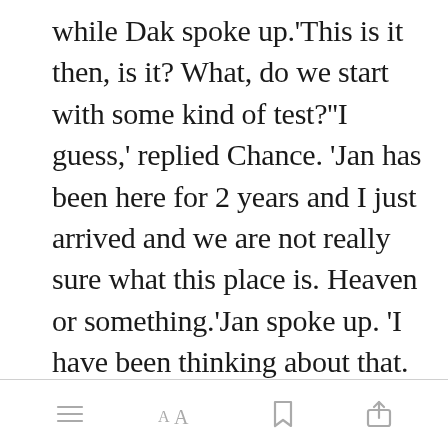while Dak spoke up.'This is it then, is it? What, do we start with some kind of test?''I guess,' replied Chance. 'Jan has been here for 2 years and I just arrived and we are not really sure what this place is. Heaven or something.'Jan spoke up. 'I have been thinking about that. There is an ancient church teaching on a place between Heaven and Earth called P[Open in app] Apparently
[Figure (screenshot): App toolbar at the bottom with menu, font size (AA), bookmark, and share icons]